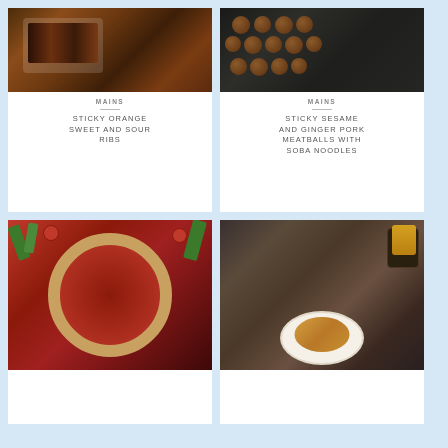[Figure (photo): Close-up photo of sticky orange sweet and sour ribs on white parchment paper, dark brown glazed ribs]
MAINS
STICKY ORANGE SWEET AND SOUR RIBS
[Figure (photo): Overhead photo of sticky sesame and ginger pork meatballs on a dark baking tray with tongs]
MAINS
STICKY SESAME AND GINGER PORK MEATBALLS WITH SOBA NOODLES
[Figure (photo): Photo of a strawberry rhubarb galette tart with rustic pastry crust and fresh strawberries around it]
[Figure (photo): Photo of spaghetti pasta dish on a white plate with dark sauce drizzle and garnish, dark mug in background]